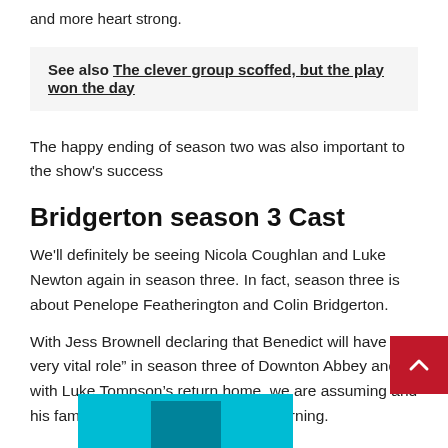and more heart strong.
See also  The clever group scoffed, but the play won the day
The happy ending of season two was also important to the show's success
Bridgerton season 3 Cast
We'll definitely be seeing Nicola Coughlan and Luke Newton again in season three. In fact, season three is about Penelope Featherington and Colin Bridgerton.
With Jess Brownell declaring that Benedict will have “a very vital role” in season three of Downton Abbey and with Luke Tompson’s return home, we are assuming and his family, the Bridgertons, will be returning.
[Figure (other): Cyan box with darker teal/blue inner shape at bottom of page]